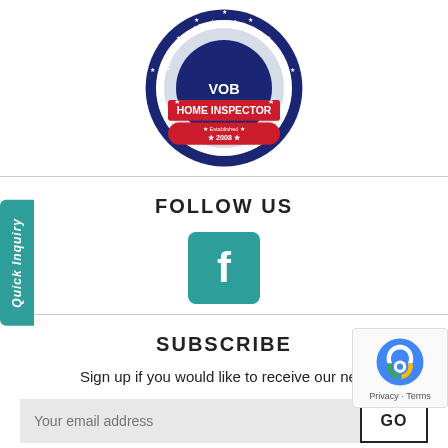[Figure (logo): VOB Veteran Owned Business Home Inspector Verified Member badge, circular seal with blue/red/white colors, established 2008]
FOLLOW US
[Figure (logo): Facebook logo icon in teal/green square with rounded corners]
SUBSCRIBE
Sign up if you would like to receive our newslet
Your email address [input field] GO [button]
Quick Inquiry [sidebar button]